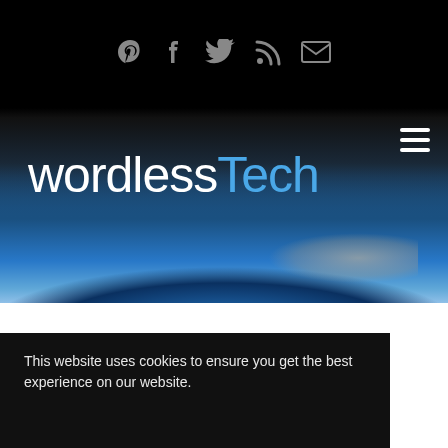Social icons: Pinterest, Facebook, Twitter, RSS, Email
[Figure (screenshot): wordlessTech website header with Earth from space background image and site logo 'wordlessTech' in white and blue text, hamburger menu icon top right]
This website uses cookies to ensure you get the best experience on our website.
Learn more
Got it!